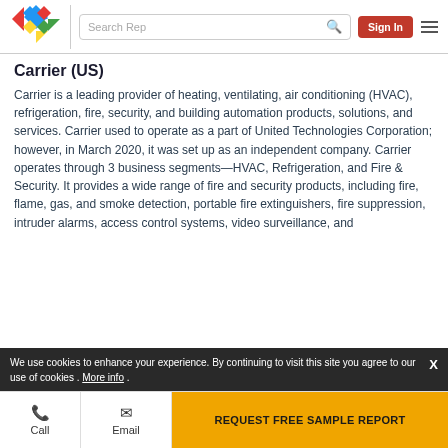[Figure (logo): Colorful diamond logo with blue, red, yellow, green diamonds arranged in a pattern]
Carrier (US)
Carrier is a leading provider of heating, ventilating, air conditioning (HVAC), refrigeration, fire, security, and building automation products, solutions, and services. Carrier used to operate as a part of United Technologies Corporation; however, in March 2020, it was set up as an independent company. Carrier operates through 3 business segments—HVAC, Refrigeration, and Fire & Security. It provides a wide range of fire and security products, including fire, flame, gas, and smoke detection, portable fire extinguishers, fire suppression, intruder alarms, access control systems, video surveillance, and
We use cookies to enhance your experience. By continuing to visit this site you agree to our use of cookies . More info .
Call
Email
REQUEST FREE SAMPLE REPORT